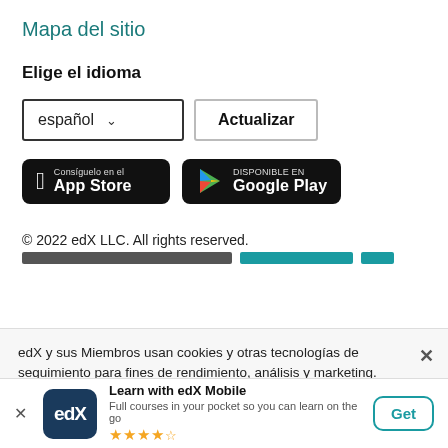Mapa del sitio
Elige el idioma
español ∨   Actualizar
[Figure (screenshot): App Store and Google Play store buttons on black backgrounds]
© 2022 edX LLC. All rights reserved.
edX y sus Miembros usan cookies y otras tecnologías de seguimiento para fines de rendimiento, análisis y marketing.
[Figure (logo): edX mobile app promo bar with logo, title 'Learn with edX Mobile', subtitle 'Full courses in your pocket so you can learn on the go', star rating, and Get button]